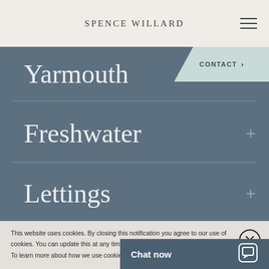SPENCE WILLARD
Yarmouth
CONTACT >
Freshwater
Lettings
This website uses cookies. By closing this notification you agree to our use of cookies. You can update this at any time via your browser settings.
To learn more about how we use cookies please see our cookies policy.
Chat now